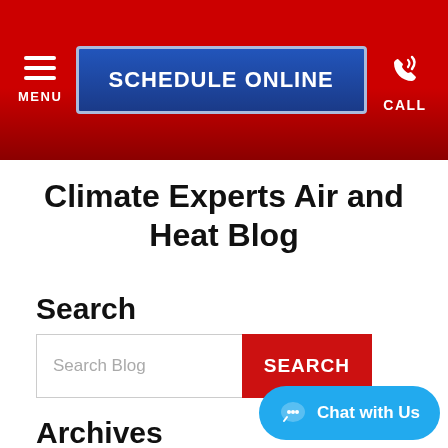MENU | SCHEDULE ONLINE | CALL
Climate Experts Air and Heat Blog
Search
Search Blog
Archives
Archives  Select Month